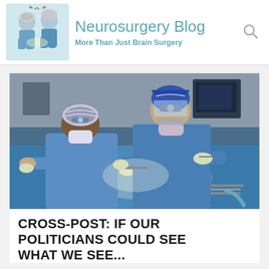Neurosurgery Blog — More Than Just Brain Surgery
[Figure (photo): Two surgeons in blue surgical gowns, masks, and headlamps performing a surgical procedure in an operating room. Blue surgical draping covers the patient. Surgical instruments are visible.]
CROSS-POST: IF OUR POLITICIANS COULD SEE WHAT WE SEE...